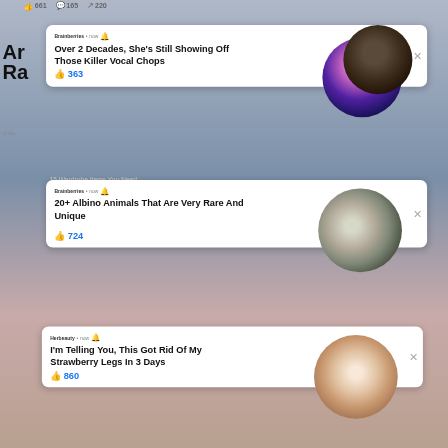[Figure (screenshot): Facebook-style notification cards overlay on a blurred background. Three notification cards from Brainberries and Herbeauty with like counts and circular thumbnail images.]
661  165  220
Brainberries • now 🔔
Over 2 Decades, She's Still Showing Off Those Killer Vocal Chops
363
Brainberries • now 🔔
20+ Albino Animals That Are Very Rare And Unique
724
Herbeauty • now 🔔
I'm Telling You, This Got Rid Of My Strawberry Legs In 3 Days
860